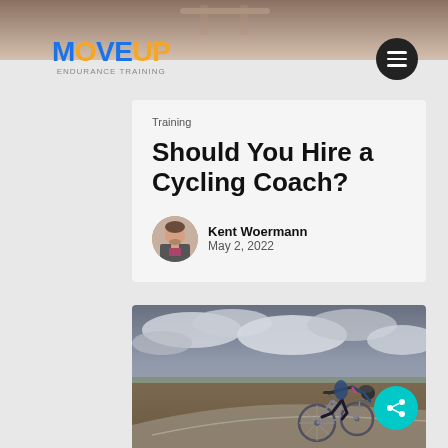[Figure (photo): Top banner image of cycling/bike scene]
MOVEUP ENDURANCE TRAINING
Training
Should You Hire a Cycling Coach?
Kent Woermann
May 2, 2022
[Figure (photo): Cyclist riding on a flat open road under cloudy dramatic sky, wearing black and blue outfit with helmet]